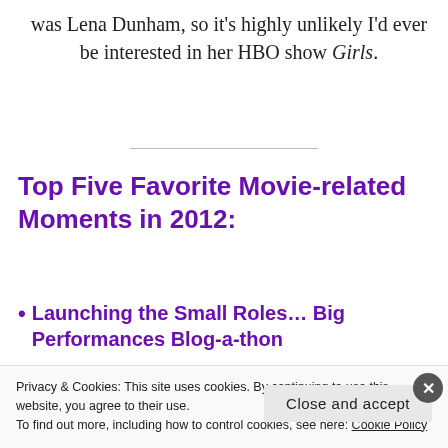was Lena Dunham, so it's highly unlikely I'd ever be interested in her HBO show Girls.
Top Five Favorite Movie-related Moments in 2012:
Launching the Small Roles… Big Performances Blog-a-thon
Privacy & Cookies: This site uses cookies. By continuing to use this website, you agree to their use.
To find out more, including how to control cookies, see here: Cookie Policy